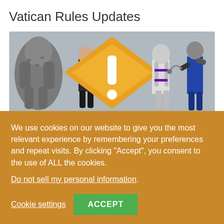Vatican Rules Updates
[Figure (photo): Banner image showing miniature figurines including a stone golem, a man in a suit, an orange warning diamond with exclamation mark, a white armored knight, and a warrior with chains]
With today's releases come some rule changes.
Continue reading
We use cookies on our website to give you the most relevant experience by remembering your preferences and repeat visits. By clicking "Accept", you consent to the use of ALL the cookies.
Do not sell my personal information.
Cookie settings
ACCEPT